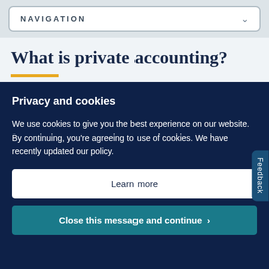NAVIGATION
What is private accounting?
Privacy and cookies
We use cookies to give you the best experience on our website. By continuing, you're agreeing to use of cookies. We have recently updated our policy.
Learn more
Close this message and continue >